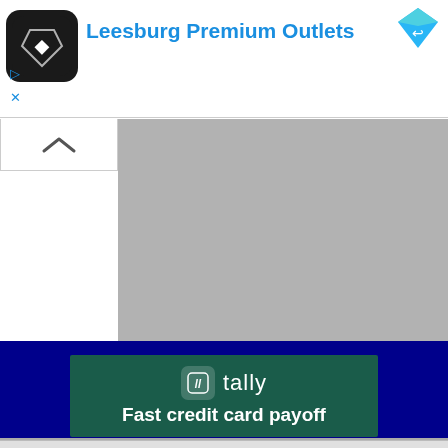[Figure (screenshot): Top advertisement banner for Leesburg Premium Outlets with dark circular logo, blue text title, navigation controls and blue diamond icon]
[Figure (screenshot): Collapsed map view with gray background and a collapse/chevron button on the left side]
[Figure (screenshot): Tally app advertisement on dark blue background with green banner reading 'tally - Fast credit card payoff']
Baggage
Airline safety
[Figure (screenshot): Mobile phone screen showing iPod status bar with time 10:20 PM and SOAR app with info button]